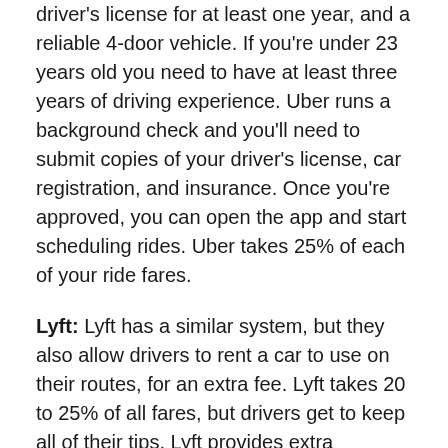driver's license for at least one year, and a reliable 4-door vehicle. If you're under 23 years old you need to have at least three years of driving experience. Uber runs a background check and you'll need to submit copies of your driver's license, car registration, and insurance. Once you're approved, you can open the app and start scheduling rides. Uber takes 25% of each of your ride fares.
Lyft: Lyft has a similar system, but they also allow drivers to rent a car to use on their routes, for an extra fee. Lyft takes 20 to 25% of all fares, but drivers get to keep all of their tips. Lyft provides extra insurance for drivers, free, and drivers get to rate passengers. Lyft requires a vehicle inspection and runs a background check. Drivers can withdraw cash from their account immediately through Express Pay.
Use an App to Sell Stuff